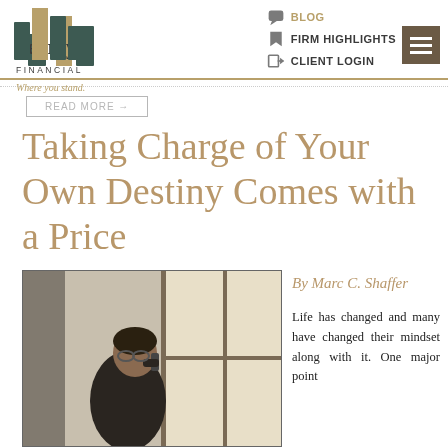[Figure (logo): Searcy Financial logo with architectural pillar marks in dark green and gold, tagline 'Where you stand.']
BLOG  FIRM HIGHLIGHTS  CLIENT LOGIN
year or even 40-year retirement. Don't happen. The Society of Actuaries predicts ealthy woman that reaches the age of this living past 90, and than 95.
Taking Charge of Your Own Destiny Comes with a Price
[Figure (photo): Man in dark suit talking on a mobile phone, standing near a bright window]
By Marc C. Shaffer
Life has changed and many have changed their mindset along with it. One major point